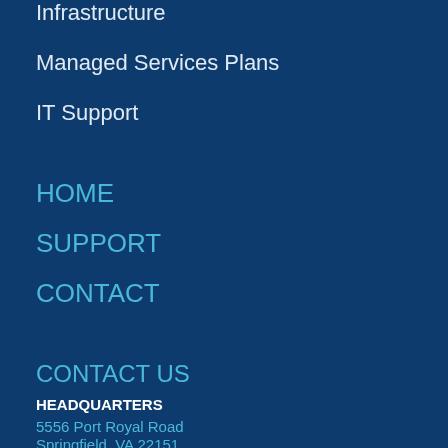Infrastructure
Managed Services Plans
IT Support
HOME
SUPPORT
CONTACT
CONTACT US
HEADQUARTERS
5556 Port Royal Road
Springfield, VA 22151